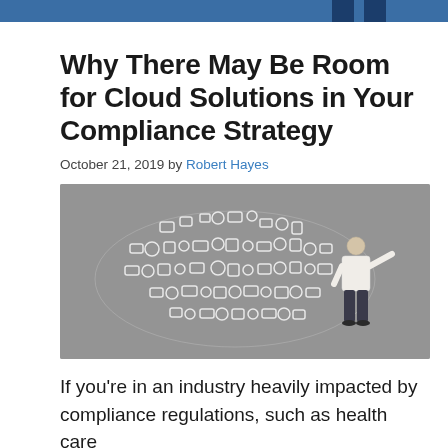Why There May Be Room for Cloud Solutions in Your Compliance Strategy
October 21, 2019 by Robert Hayes
[Figure (photo): A person standing in front of a grey wall drawing a large cloud shape made up of various technology icons and symbols in white chalk.]
If you’re in an industry heavily impacted by compliance regulations, such as health care